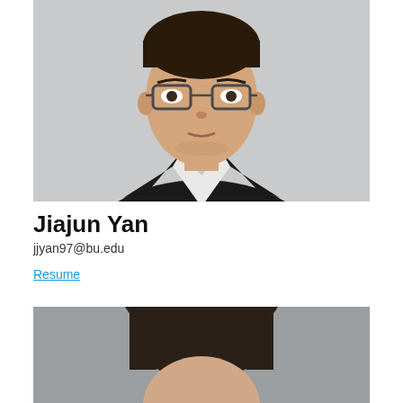[Figure (photo): Headshot of a young man with glasses wearing a black suit jacket and white shirt, light gray background]
Jiajun Yan
jjyan97@bu.edu
Resume
[Figure (photo): Partial headshot of a person with dark hair, gray background, only top of head visible]